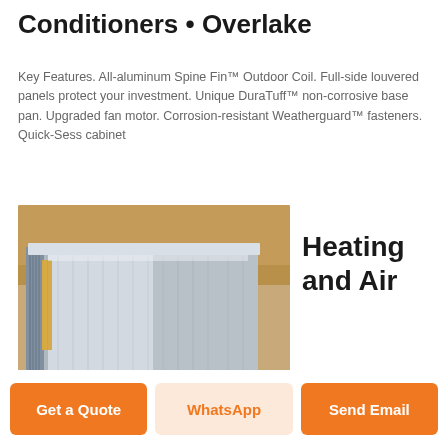Conditioners • Overlake
Key Features. All-aluminum Spine Fin™ Outdoor Coil. Full-side louvered panels protect your investment. Unique DuraTuff™ non-corrosive base pan. Upgraded fan motor. Corrosion-resistant Weatherguard™ fasteners. Quick-Sess cabinet
[Figure (photo): Photo of stacked aluminum sheet metal panels, silvery metallic surface with ridged edges, stored in a warehouse setting with wooden background]
Heating and Air
Get a Quote
WhatsApp
Send Email